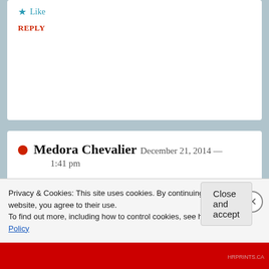★ Like
REPLY
Medora Chevalier   December 21, 2014 —  1:41 pm
So sorry I didnt spot your question before Sadhya. I've just realised that there is
Privacy & Cookies: This site uses cookies. By continuing to use this website, you agree to their use.
To find out more, including how to control cookies, see here: Cookie Policy
Close and accept